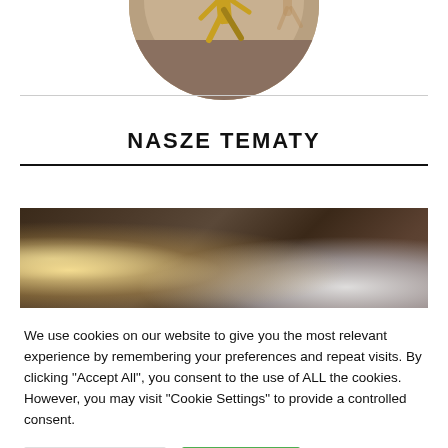[Figure (photo): Circular cropped photo of a person in motion on a track, partially visible at top of page]
NASZE TEMATY
[Figure (photo): Wide horizontal photo strip showing a dark, atmospheric scene with bright light effects on the left and a round white/grey object on the right]
We use cookies on our website to give you the most relevant experience by remembering your preferences and repeat visits. By clicking "Accept All", you consent to the use of ALL the cookies. However, you may visit "Cookie Settings" to provide a controlled consent.
Cookie Settings
Accept All